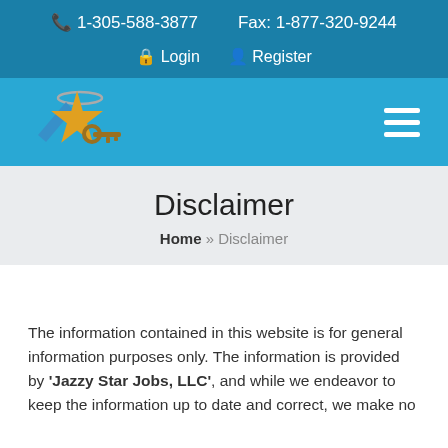1-305-588-3877   Fax: 1-877-320-9244
Login   Register
[Figure (logo): Jazzy Star Jobs LLC logo: gold star with blue arrow and a key, circular halo above]
Disclaimer
Home » Disclaimer
The information contained in this website is for general information purposes only. The information is provided by 'Jazzy Star Jobs, LLC', and while we endeavor to keep the information up to date and correct, we make no